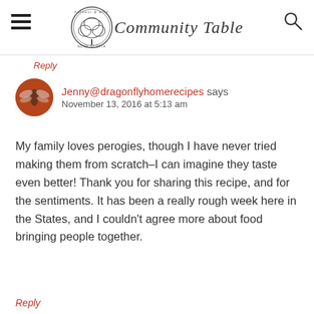harvest & wild Community Table
Reply
Jenny@dragonflyhomerecipes says
November 13, 2016 at 5:13 am
My family loves perogies, though I have never tried making them from scratch–I can imagine they taste even better! Thank you for sharing this recipe, and for the sentiments. It has been a really rough week here in the States, and I couldn't agree more about food bringing people together.
Reply